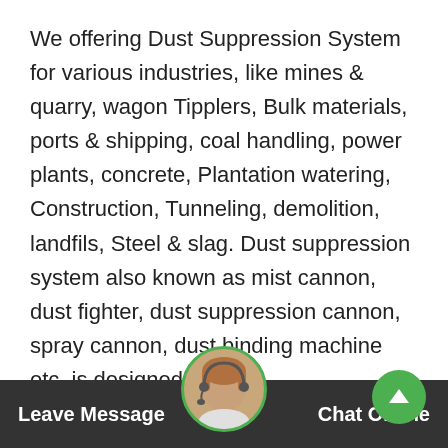We offering Dust Suppression System for various industries, like mines & quarry, wagon Tipplers, Bulk materials, ports & shipping, coal handling, power plants, concrete, Plantation watering, Construction, Tunneling, demolition, landfils, Steel & slag. Dust suppression system also known as mist cannon, dust fighter, dust suppression cannon, spray cannon, dust binding machine etc. is designed ...
WLP provide all Dust Control Equipment you need. The WLP systems solves the problem of Dust Suppression - Odour Suppression - Dust Suppression in Quarry - Dust Suppression in construction sides - Dust Suppression in garbage dump - Dust Suppression in demolitions - Dust Suppression in tunnels - Dust Suppression in mill - Dust Suppression in Concrete aggregate plant, Dust
Leave Message   Chat Online